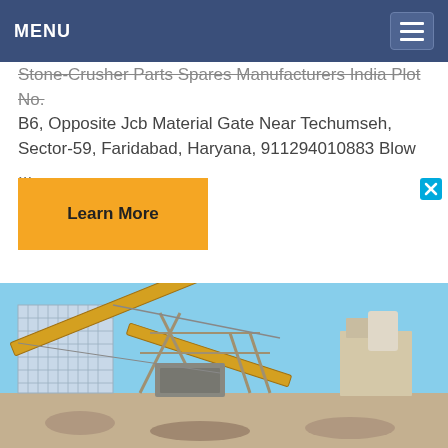MENU
Stone-Crusher Parts Spares Manufacturers India Plot No. B6, Opposite Jcb Material Gate Near Techumseh, Sector-59, Faridabad, Haryana, 911294010883 Blow ...
Learn More
[Figure (photo): Industrial stone crusher / mining plant machinery with conveyor belts and structural steel framework against a blue sky]